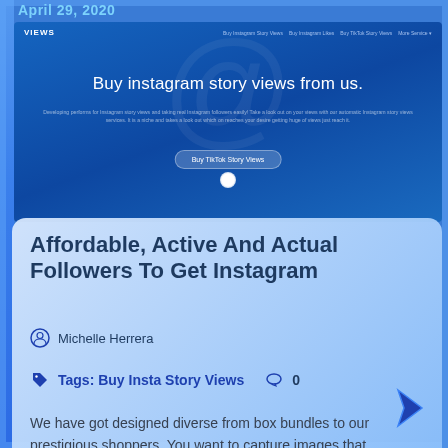April 29, 2020
[Figure (screenshot): Screenshot of a website selling Instagram story views. Navigation bar with logo 'VIEWS' and links: Buy Instagram Story Views, Buy Instagram Likes, Buy TikTok Story Views, More Service. Hero section with text 'Buy instagram story views from us.' and a button 'Buy TikTok Story Views'.]
Affordable, Active And Actual Followers To Get Instagram
Michelle Herrera
Tags: Buy Insta Story Views   0
We have got designed diverse from box bundles to our prestigious shoppers. You want to capture images that your profile stands out! Is it feasible to